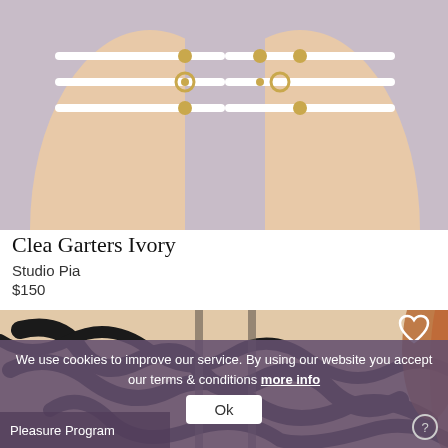[Figure (photo): Product photo of white garter straps with gold hardware on a model's thighs against a light purple background]
Clea Garters Ivory
Studio Pia
$150
[Figure (photo): Product photo showing a black abstract patterned lingerie piece on a model, with a white heart/wishlist icon overlay]
We use cookies to improve our service. By using our website you accept our terms & conditions more info
Ok
Pleasure Program